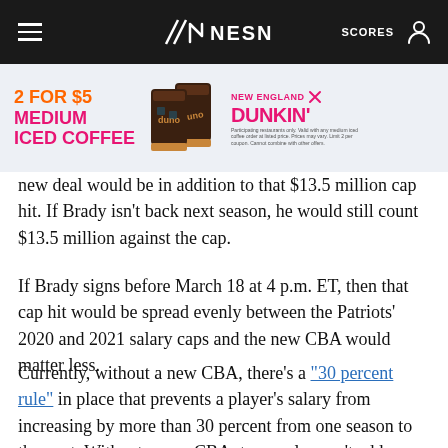NESN — SCORES
[Figure (other): Dunkin' advertisement banner: '2 FOR $5 MEDIUM ICED COFFEE' with two iced coffee cups and 'NEW ENGLAND // DUNKIN'' branding]
new deal would be in addition to that $13.5 million cap hit. If Brady isn't back next season, he would still count $13.5 million against the cap.
If Brady signs before March 18 at 4 p.m. ET, then that cap hit would be spread evenly between the Patriots' 2020 and 2021 salary caps and the new CBA would matter less.
Currently, without a new CBA, there's a "30 percent rule" in place that prevents a player's salary from increasing by more than 30 percent from one season to the next. Without a new CBA, teams also can't add voidable years to a player's contract. Those restrictions make it difficult to